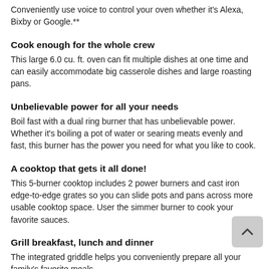Conveniently use voice to control your oven whether it's Alexa, Bixby or Google.**
Cook enough for the whole crew
This large 6.0 cu. ft. oven can fit multiple dishes at one time and can easily accommodate big casserole dishes and large roasting pans.
Unbelievable power for all your needs
Boil fast with a dual ring burner that has unbelievable power. Whether it's boiling a pot of water or searing meats evenly and fast, this burner has the power you need for what you like to cook.
A cooktop that gets it all done!
This 5-burner cooktop includes 2 power burners and cast iron edge-to-edge grates so you can slide pots and pans across more usable cooktop space. User the simmer burner to cook your favorite sauces.
Grill breakfast, lunch and dinner
The integrated griddle helps you conveniently prepare all your family's favorite meals.
Spend less time cleaning